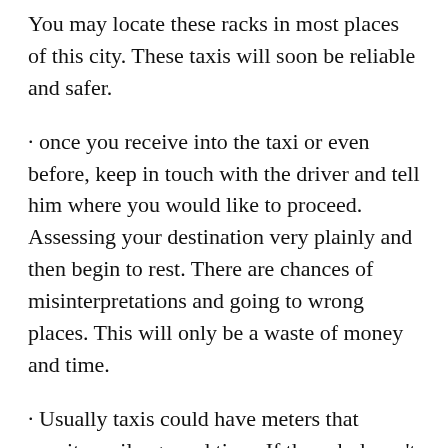You may locate these racks in most places of this city. These taxis will soon be reliable and safer.
· once you receive into the taxi or even before, keep in touch with the driver and tell him where you would like to proceed. Assessing your destination very plainly and then begin to rest. There are chances of misinterpretations and going to wrong places. This will only be a waste of money and time.
· Usually taxis could have meters that monitor mileage and time. If the cab doesn't need one, talk about the values ahead. · In case your trips are intended sooner, try to seek out inexpensive cab rentals on the web. You will know more about the rates and may compare them with additional services